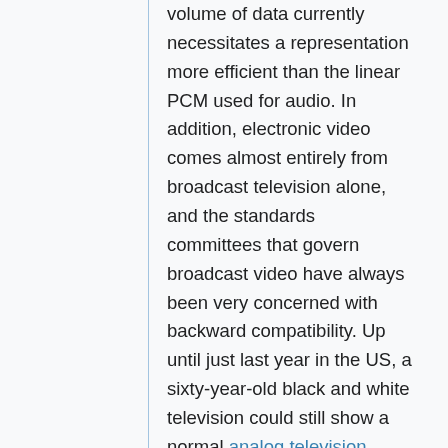volume of data currently necessitates a representation more efficient than the linear PCM used for audio. In addition, electronic video comes almost entirely from broadcast television alone, and the standards committees that govern broadcast video have always been very concerned with backward compatibility. Up until just last year in the US, a sixty-year-old black and white television could still show a normal analog television broadcast. That's actually a really neat trick.
The downside to backward compatibility is that once a detail makes it into a standard, you can't ever really throw it out again. Electronic video has never started over from scratch the way audio has multiple times. Sixty years worth of clever but obsolete hacks necessitated